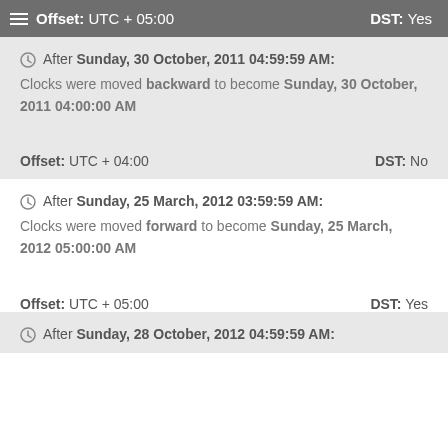Offset: UTC + 05:00   DST: Yes
After Sunday, 30 October, 2011 04:59:59 AM:
Clocks were moved backward to become Sunday, 30 October, 2011 04:00:00 AM
Offset: UTC + 04:00   DST: No
After Sunday, 25 March, 2012 03:59:59 AM:
Clocks were moved forward to become Sunday, 25 March, 2012 05:00:00 AM
Offset: UTC + 05:00   DST: Yes
After Sunday, 28 October, 2012 04:59:59 AM: